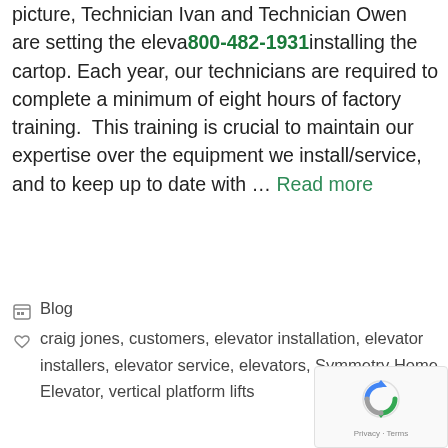picture, Technician Ivan and Technician Owen are setting the elevator cab before installing the cartop. Each year, our technicians are required to complete a minimum of eight hours of factory training. This training is crucial to maintain our expertise over the equipment we install/service, and to keep up to date with … Read more
Blog
craig jones, customers, elevator installation, elevator installers, elevator service, elevators, Symmetry Home Elevator, vertical platform lifts
[Figure (logo): reCAPTCHA logo with Privacy - Terms text]